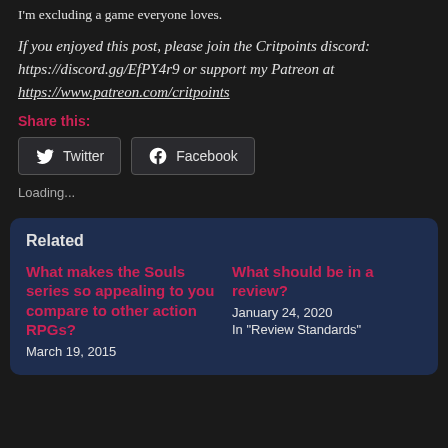I'm excluding a game everyone loves.
If you enjoyed this post, please join the Critpoints discord: https://discord.gg/EfPY4r9 or support my Patreon at https://www.patreon.com/critpoints
Share this:
Twitter
Facebook
Loading...
Related
What makes the Souls series so appealing to you compare to other action RPGs?
March 19, 2015
What should be in a review?
January 24, 2020
In "Review Standards"